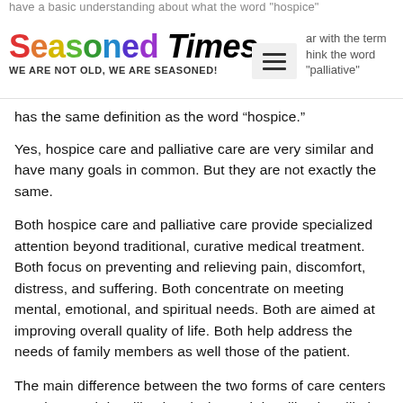have a basic understanding about what the word "hospice" — familiar with the term — think the word "palliative" | Seasoned Times — WE ARE NOT OLD, WE ARE SEASONED!
has the same definition as the word “hospice.”
Yes, hospice care and palliative care are very similar and have many goals in common. But they are not exactly the same.
Both hospice care and palliative care provide specialized attention beyond traditional, curative medical treatment. Both focus on preventing and relieving pain, discomfort, distress, and suffering. Both concentrate on meeting mental, emotional, and spiritual needs. Both are aimed at improving overall quality of life. Both help address the needs of family members as well those of the patient.
The main difference between the two forms of care centers on when each is utilized and why each is utilized. Palliative care can be provided throughout an illness and while a patient is also receiving traditional, curative medical treatment. (text continues below)